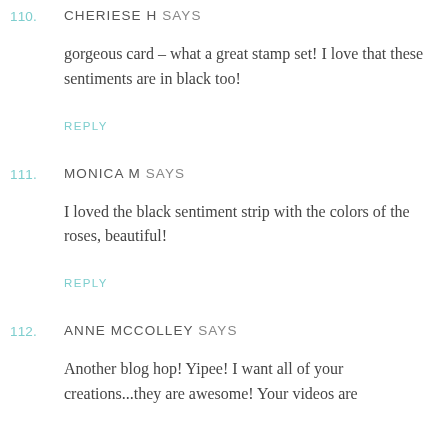110. CHERIESE H SAYS
gorgeous card – what a great stamp set! I love that these sentiments are in black too!
REPLY
111. MONICA M SAYS
I loved the black sentiment strip with the colors of the roses, beautiful!
REPLY
112. ANNE MCCOLLEY SAYS
Another blog hop! Yipee! I want all of your creations...they are awesome! Your videos are